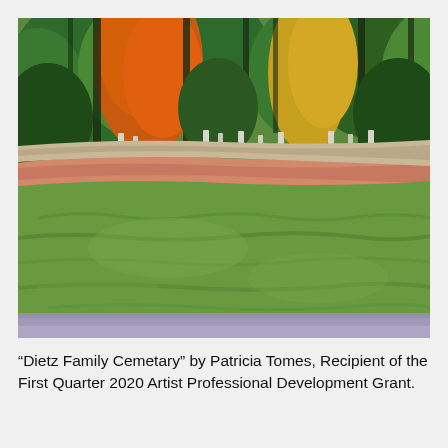[Figure (illustration): A painting showing a cemetery landscape. The upper portion depicts dense trees with green, orange, and dark foliage. Small white grave markers are visible among the trees. A salmon/peach colored path or road runs horizontally through the middle. The lower two-thirds is a broad expanse of green grass with textured brushstrokes. A lavender/mauve strip runs along the very bottom edge.]
“Dietz Family Cemetary” by Patricia Tomes, Recipient of the First Quarter 2020 Artist Professional Development Grant.